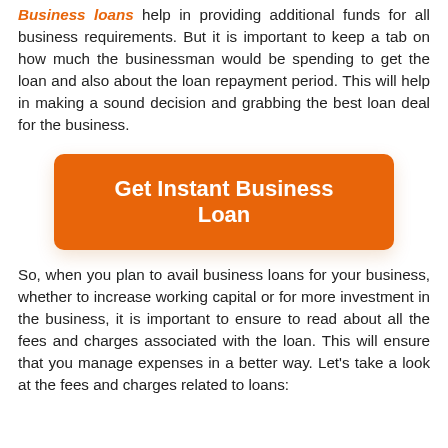Business loans help in providing additional funds for all business requirements. But it is important to keep a tab on how much the businessman would be spending to get the loan and also about the loan repayment period. This will help in making a sound decision and grabbing the best loan deal for the business.
[Figure (other): Orange rounded rectangle button with white bold text: Get Instant Business Loan]
So, when you plan to avail business loans for your business, whether to increase working capital or for more investment in the business, it is important to ensure to read about all the fees and charges associated with the loan. This will ensure that you manage expenses in a better way. Let's take a look at the fees and charges related to loans: